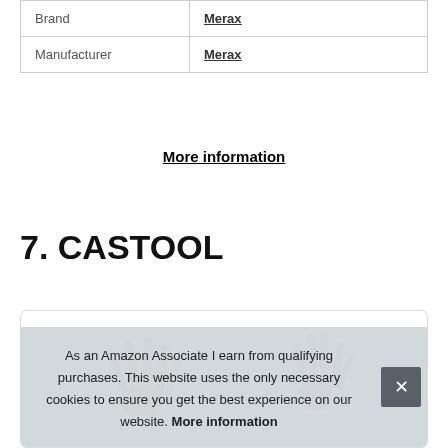| Brand | Merax |
| Manufacturer | Merax |
More information
7. CASTOOL
[Figure (photo): Product image card with hands visible at the top, partially obscured by a cookie consent banner]
As an Amazon Associate I earn from qualifying purchases. This website uses the only necessary cookies to ensure you get the best experience on our website. More information